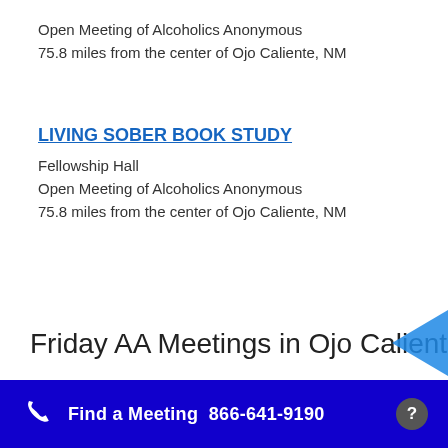Open Meeting of Alcoholics Anonymous
75.8 miles from the center of Ojo Caliente, NM
LIVING SOBER BOOK STUDY
Fellowship Hall
Open Meeting of Alcoholics Anonymous
75.8 miles from the center of Ojo Caliente, NM
Friday AA Meetings in Ojo Caliente
Find a Meeting  866-641-9190